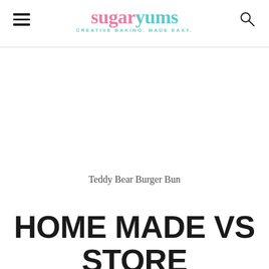sugaryums — CREATIVE BAKING. MADE EASY.
Teddy Bear Burger Bun
HOME MADE VS STORE BOUGHT